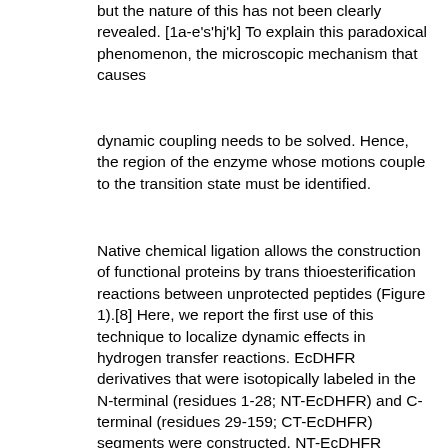but the nature of this has not been clearly revealed. [1a-e's'hj'k] To explain this paradoxical phenomenon, the microscopic mechanism that causes
dynamic coupling needs to be solved. Hence, the region of the enzyme whose motions couple to the transition state must be identified.
Native chemical ligation allows the construction of functional proteins by trans thioesterification reactions between unprotected peptides (Figure 1).[8] Here, we report the first use of this technique to localize dynamic effects in hydrogen transfer reactions. EcDHFR derivatives that were isotopically labeled in the N-terminal (residues 1-28; NT-EcDHFR) and C-terminal (residues 29-159; CT-EcDHFR) segments were constructed. NT-EcDHFR carries heavy isotopes (15N, 13C, and non-exchangeable 2H) in the pA strand and the active-site M20 loop, whereas CT-EcDHFR possesses heavy isotopes only in the C-terminal portions of the enzyme including the FG and GH loops. Investigation of "heavy" NT-EcDHFR and CT-EcDHFR located the regions of the enzyme responsible for dynamic coupling on the ms and fs-ps